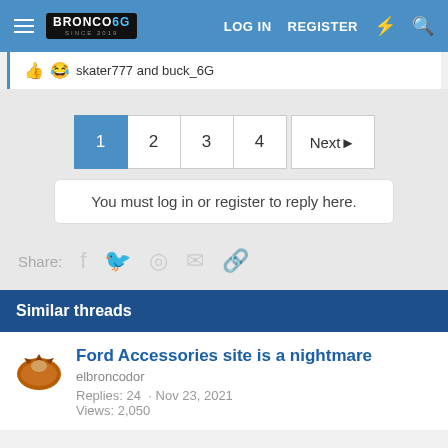BRONCO6G.COM — LOG IN  REGISTER
skater777 and buck_6G
1  2  3  4  Next
You must log in or register to reply here.
Share:
Similar threads
Ford Accessories site is a nightmare
elbroncodor
Replies: 24 · Nov 23, 2021
Views: 2,050